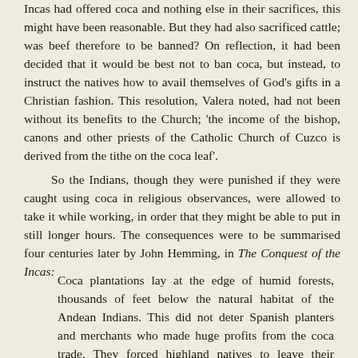Incas had offered coca and nothing else in their sacrifices, this might have been reasonable. But they had also sacrificed cattle; was beef therefore to be banned? On reflection, it had been decided that it would be best not to ban coca, but instead, to instruct the natives how to avail themselves of God's gifts in a Christian fashion. This resolution, Valera noted, had not been without its benefits to the Church; 'the income of the bishop, canons and other priests of the Catholic Church of Cuzco is derived from the tithe on the coca leaf'.
So the Indians, though they were punished if they were caught using coca in religious observances, were allowed to take it while working, in order that they might be able to put in still longer hours. The consequences were to be summarised four centuries later by John Hemming, in The Conquest of the Incas:
Coca plantations lay at the edge of humid forests, thousands of feet below the natural habitat of the Andean Indians. This did not deter Spanish planters and merchants who made huge profits from the coca trade. They forced highland natives to leave their encomiendas and